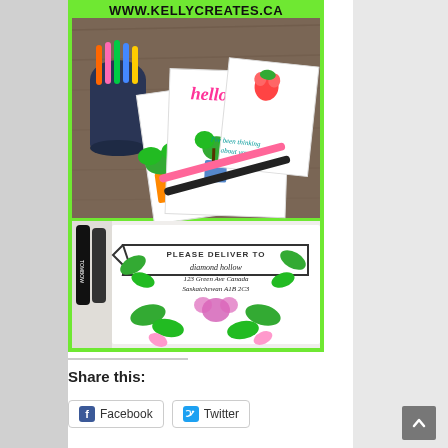[Figure (photo): Blog post page from kellycreates.ca showing a green-bordered composite image: top half shows greeting cards with plant illustrations and markers on a wooden surface, bottom half shows a close-up of botanical address lettering drawing. Below the image is a divider line, 'Share this:' heading, and Facebook/Twitter social sharing buttons. A scroll-up arrow appears in the bottom right.]
Share this:
Facebook
Twitter